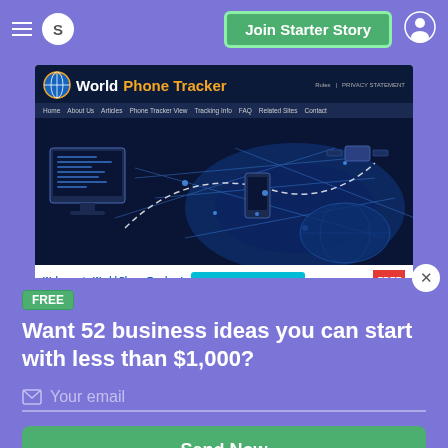Join Starter Story
[Figure (screenshot): Screenshot of World Phone Tracker website showing navigation bar, banner with globe/satellite imagery, welcome text and Track a phone Number Here button]
FREE
Want 52 business ideas you can start with less than $1,000?
Your email
Send Now